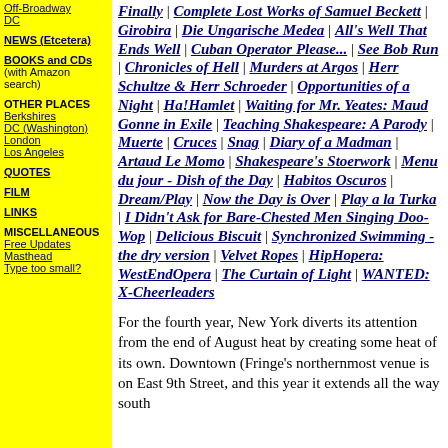Off-Broadway DC
NEWS (Etcetera)
BOOKS and CDs (with Amazon search)
OTHER PLACES: Berkshires, DC (Washington), London, Los Angeles
QUOTES
FILM
LINKS
MISCELLANEOUS: Free Updates, Masthead, Type too small?
Finally | Complete Lost Works of Samuel Beckett | Girobira | Die Ungarische Medea | All's Well That Ends Well | Cuban Operator Please... | See Bob Run | Chronicles of Hell | Murders at Argos | Herr Schultze & Herr Schroeder | Opportunities of a Night | Ha!Hamlet | Waiting for Mr. Yeates: Maud Gonne in Exile | Teaching Shakespeare: A Parody | Muerte | Cruces | Snag | Diary of a Madman | Artaud Le Momo | Shakespeare's Stoerwork | Menu du jour - Dish of the Day | Habitos Oscuros | Dream/Play | Now the Day is Over | Play a la Turka | I Didn't Ask for Bare-Chested Men Singing Doo-Wop | Delicious Biscuit | Synchronized Swimming - the dry version | Velvet Ropes | HipHopera: WestEndOpera | The Curtain of Light | WANTED: X-Cheerleaders
For the fourth year, New York diverts its attention from the end of August heat by creating some heat of its own. Downtown (Fringe's northernmost venue is on East 9th Street, and this year it extends all the way south